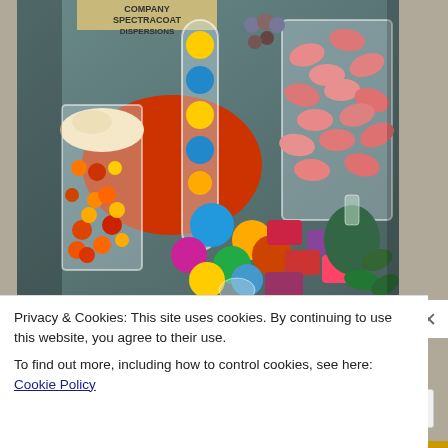[Figure (photo): Product photograph showing colorful pharmaceutical tablets, capsules, and candy-coated pills in various laboratory glassware (beakers, flasks, test tubes). Items include multicolor spheres, oblong pink tablets, red/yellow candy pieces, and colored blocks. A label in the upper portion reads 'COMPANY SPECTRACOAT DISPERSIONS'. Textured beige/brown background.]
Privacy & Cookies: This site uses cookies. By continuing to use this website, you agree to their use.
To find out more, including how to control cookies, see here: Cookie Policy
Close and accept